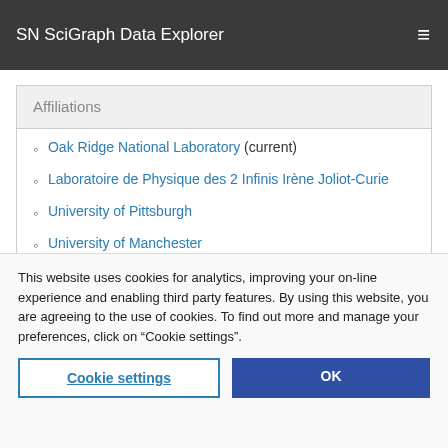SN SciGraph Data Explorer
Affiliations
Oak Ridge National Laboratory (current)
Laboratoire de Physique des 2 Infinis Irène Joliot-Curie
University of Pittsburgh
University of Manchester
Oak Ridge Associated Universities
Lawrence Berkeley National Laboratory
This website uses cookies for analytics, improving your on-line experience and enabling third party features. By using this website, you are agreeing to the use of cookies. To find out more and manage your preferences, click on “Cookie settings”.
Cookie settings | OK